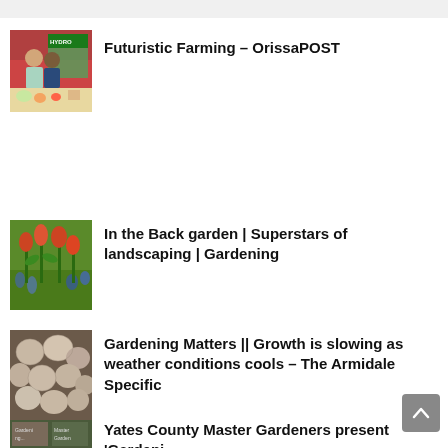[Figure (photo): Two people standing in front of a hydroponic farming display with plants and food items]
Futuristic Farming – OrissaPOST
[Figure (photo): Orange tulip-like flowers in a garden with blue flowers in the background]
In the Back garden | Superstars of landscaping | Gardening
[Figure (photo): Close-up of round root vegetables, possibly turnips or parsnips]
Gardening Matters || Growth is slowing as weather conditions cools – The Armidale Specific
[Figure (photo): Books or pamphlets with gardening content, partially visible]
Yates County Master Gardeners present 'Gardening